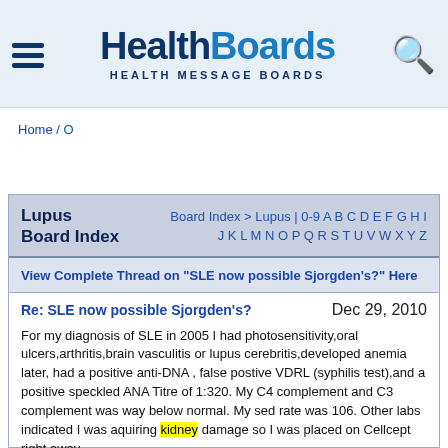HealthBoards HEALTH MESSAGE BOARDS
Home / O
Lupus Board Index
Board Index > Lupus | 0-9 A B C D E F G H I J K L M N O P Q R S T U V W X Y Z
View Complete Thread on "SLE now possible Sjorgden's?" Here
Re: SLE now possible Sjorgden's?
Dec 29, 2010
For my diagnosis of SLE in 2005 I had photosensitivity,oral ulcers,arthritis,brain vasculitis or lupus cerebritis,developed anemia later, had a positive anti-DNA , false postive VDRL (syphilis test),and a positive speckled ANA Titre of 1:320. My C4 complement and C3 complement was way below normal. My sed rate was 106. Other labs indicated I was aquiring kidney damage so I was placed on Cellcept right away.